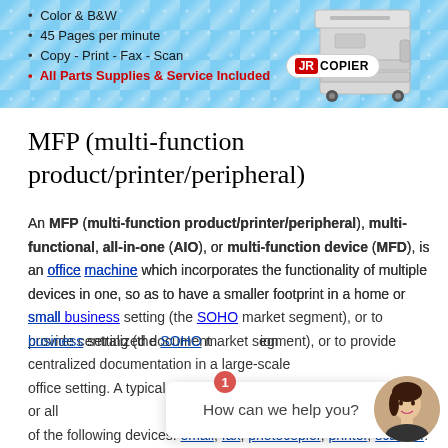[Figure (infographic): Blue diamond-pattern banner ad for JR Copier showing bullet points: Color & B&W, 45 Pages per minute, Copy - Print - Fax - Scan, All Parts Supplies & Service Included, with a copier machine image and JR Copier logo]
MFP (multi-function product/printer/peripheral)
An MFP (multi-function product/printer/peripheral), multi-functional, all-in-one (AIO), or multi-function device (MFD), is an office machine which incorporates the functionality of multiple devices in one, so as to have a smaller footprint in a home or small business setting (the SOHO market segment), or to provide centralized document management/distribution/production in a large-scale office setting. A typical MFP may act as a combination of some or all of the following devices: email, fax, photocopier, printer, scanner.
[Figure (infographic): Chat widget overlay with 'How can we help you?' text and a female avatar]